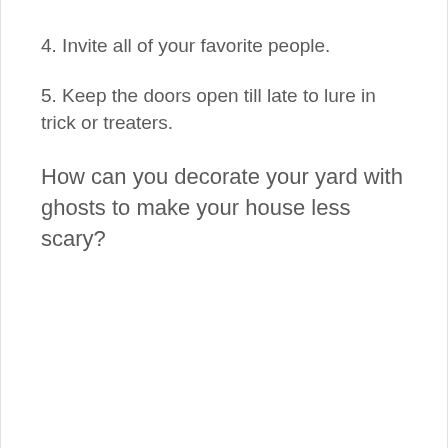4. Invite all of your favorite people.
5. Keep the doors open till late to lure in trick or treaters.
How can you decorate your yard with ghosts to make your house less scary?